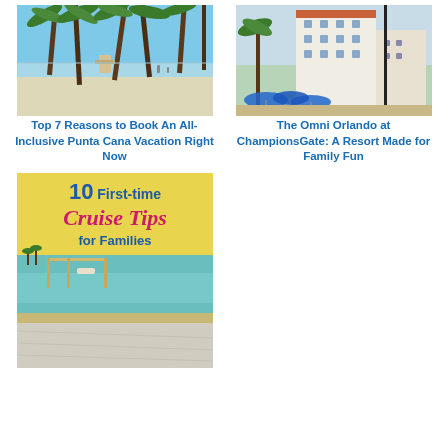[Figure (photo): Beach scene with tall palm trees, white sand, and ocean in background]
[Figure (photo): Hotel building exterior with palm trees and blue umbrellas in foreground]
Top 7 Reasons to Book An All-Inclusive Punta Cana Vacation Right Now
The Omni Orlando at ChampionsGate: A Resort Made for Family Fun
[Figure (infographic): Cruise tips infographic with yellow background showing text '10 First-time Cruise Tips for Families' over a tropical water scene]
10 First-time Cruise Tips for Families